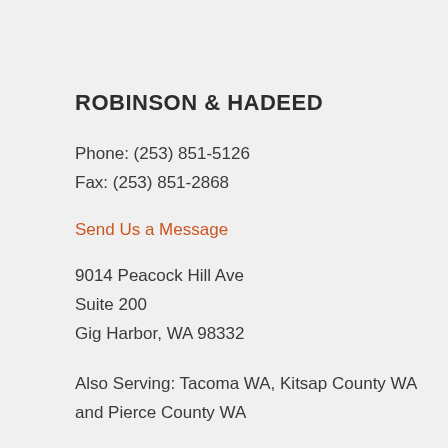ROBINSON & HADEED
Phone: (253) 851-5126
Fax: (253) 851-2868
Send Us a Message
9014 Peacock Hill Ave
Suite 200
Gig Harbor, WA 98332
Also Serving: Tacoma WA, Kitsap County WA and Pierce County WA